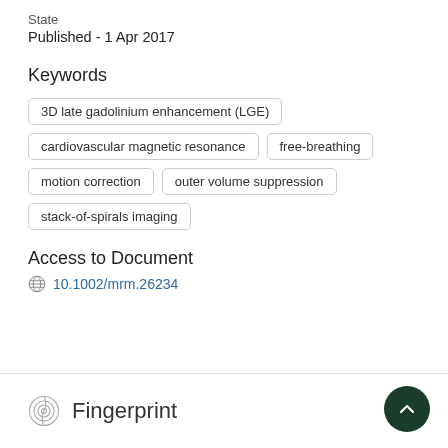State
Published - 1 Apr 2017
Keywords
3D late gadolinium enhancement (LGE)
cardiovascular magnetic resonance
free-breathing
motion correction
outer volume suppression
stack-of-spirals imaging
Access to Document
10.1002/mrm.26234
Fingerprint